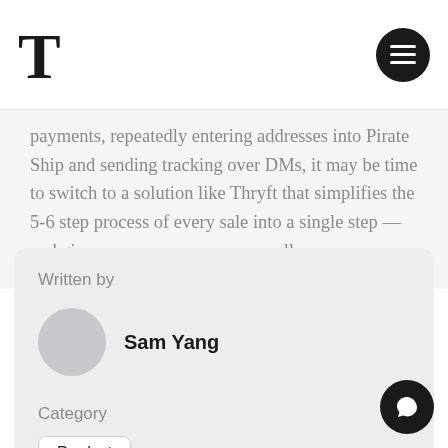T
payments, repeatedly entering addresses into Pirate Ship and sending tracking over DMs, it may be time to switch to a solution like Thryft that simplifies the 5-6 step process of every sale into a single step — and gives you superpowers as a seller.
Written by
Sam Yang
Category
Product